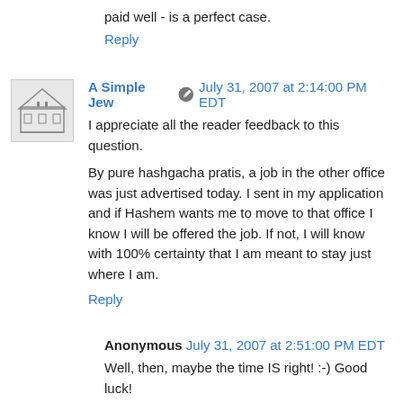paid well - is a perfect case.
Reply
A Simple Jew  July 31, 2007 at 2:14:00 PM EDT
I appreciate all the reader feedback to this question.
By pure hashgacha pratis, a job in the other office was just advertised today. I sent in my application and if Hashem wants me to move to that office I know I will be offered the job. If not, I will know with 100% certainty that I am meant to stay just where I am.
Reply
Anonymous  July 31, 2007 at 2:51:00 PM EDT
Well, then, maybe the time IS right! :-) Good luck!
Reply